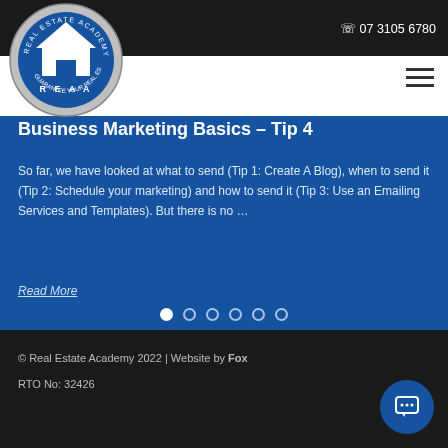07 3105 6780
[Figure (logo): REAA Real Estate Academy Australia circular logo with house icon]
Business Marketing Basics – Tip 4
So far, we have looked at what to send (Tip 1: Create A Blog), when to send it (Tip 2: Schedule your marketing) and how to send it (Tip 3: Use an Emailing Services and Templates). But there is no …
Read More
© Real Estate Academy 2022 | Website by Fox
RTO No: 32426